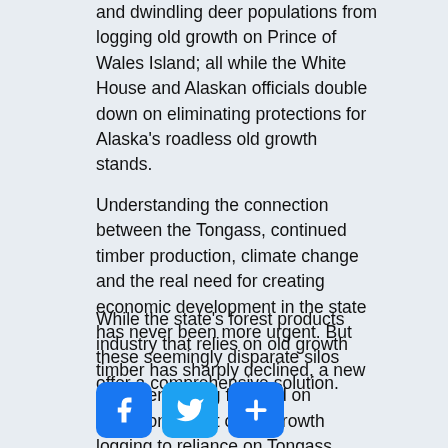and dwindling deer populations from logging old growth on Prince of Wales Island; all while the White House and Alaskan officials double down on eliminating protections for Alaska's roadless old growth stands.
Understanding the connection between the Tongass, continued timber production, climate change and the real need for creating economic development in the state has never been more urgent. But these seemingly disparate silos offer a comprehensive solution.
While the state's forest products industry that relies on old growth timber has sharply declined, a new one is emerging focused on transitioning out of old growth logging to reliance on Tongass young growth — 55-75-year-old trees — timber supply.
[Figure (other): Social media sharing icons: Facebook (blue f), Twitter (blue bird), and a generic share icon (blue plus)]